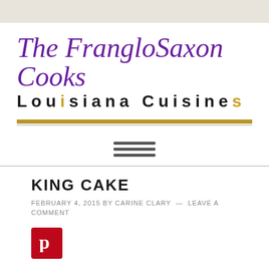The FrangloSaxon Cooks Louisiana Cuisines
[Figure (logo): Hamburger menu icon with three horizontal bars]
KING CAKE
FEBRUARY 4, 2015 BY CARINE CLARY — LEAVE A COMMENT
[Figure (logo): Pinterest red logo button with white P]